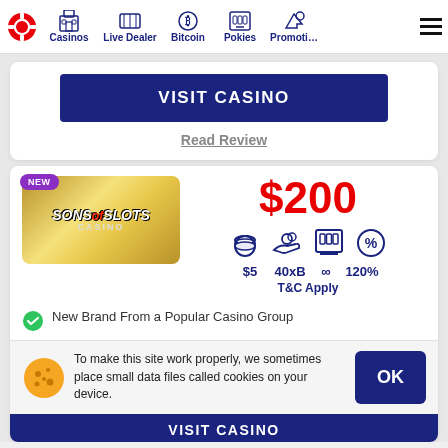Casinos | Live Dealer | Bitcoin | Pokies | Promotions
VISIT CASINO
Read Review
$200
$5  40xB  ∞  120%  T&C Apply
New Brand From a Popular Casino Group
To make this site work properly, we sometimes place small data files called cookies on your device.
OK
VISIT CASINO